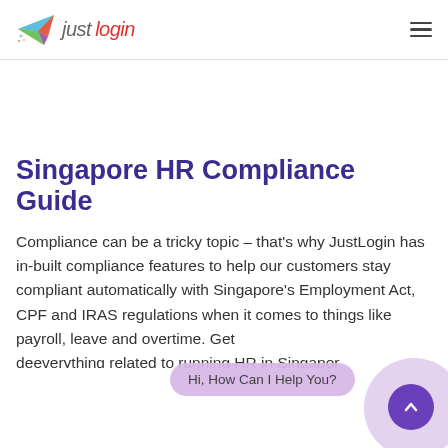[Figure (logo): JustLogin logo with colorful paper airplane and text 'justlogin' in grey and red italic]
Singapore HR Compliance Guide
Compliance can be a tricky topic – that's why JustLogin has in-built compliance features to help our customers stay compliant automatically with Singapore's Employment Act, CPF and IRAS regulations when it comes to things like payroll, leave and overtime. Get everything related to running HR in Singapore